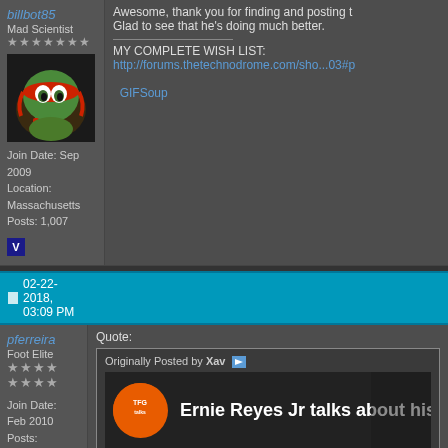billbot85
Mad Scientist
[Figure (illustration): Avatar image showing Raphael from Teenage Mutant Ninja Turtles cartoon]
Join Date: Sep 2009
Location: Massachusetts
Posts: 1,007
Awesome, thank you for finding and posting this! Glad to see that he's doing much better.
MY COMPLETE WISH LIST:
http://forums.thetechnodrome.com/sho...03#p
GIFSoup
02-22-2018, 03:09 PM
pferreira
Foot Elite
Join Date: Feb 2010
Posts: 2,514
Quote:
Originally Posted by Xav
Ernie Reyes Jr talks about his he